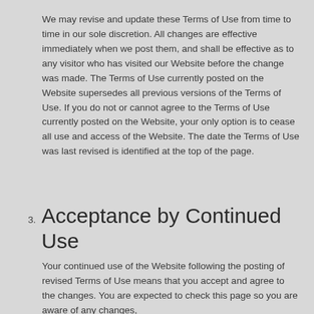We may revise and update these Terms of Use from time to time in our sole discretion. All changes are effective immediately when we post them, and shall be effective as to any visitor who has visited our Website before the change was made. The Terms of Use currently posted on the Website supersedes all previous versions of the Terms of Use. If you do not or cannot agree to the Terms of Use currently posted on the Website, your only option is to cease all use and access of the Website. The date the Terms of Use was last revised is identified at the top of the page.
3.  Acceptance by Continued Use
Your continued use of the Website following the posting of revised Terms of Use means that you accept and agree to the changes. You are expected to check this page so you are aware of any changes,